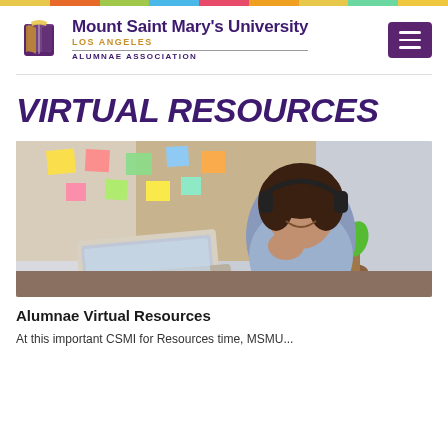Mount Saint Mary's University LOS ANGELES ALUMNAE ASSOCIATION
VIRTUAL RESOURCES
[Figure (photo): Young woman with curly hair wearing headphones, smiling while looking at a laptop screen, seated at a desk with a cork bulletin board covered in colorful sticky notes in the background, and a plant in a pot.]
Alumnae Virtual Resources
At this important CSMI for Resources time, MSMU...